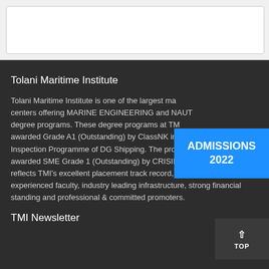[Figure (other): White card/box in a light grey top section of the page]
Tolani Maritime Institute
Tolani Maritime Institute is one of the largest maritime training centers offering MARINE ENGINEERING and NAUTICAL SCIENCE degree programs. These degree programs at TMI have been awarded Grade A1 (Outstanding) by ClassNK in the annual Inspection Programme of DG Shipping. The programmes are also awarded SME Grade 1 (Outstanding) by CRISIL . The assigned grade reflects TMI's excellent placement track record, qualified and experienced faculty, industry leading infrastructure, strong financial standing and professional & committed promoters.
[Figure (other): Blue banner/badge overlapping the text area with bold white text reading ADMISSIONS 2022]
TMI Newsletter
[Figure (other): Dark grey TOP button with upward arrow at bottom right corner]